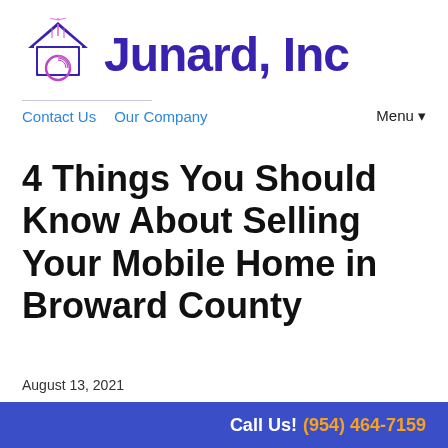[Figure (logo): Junard, Inc logo with a house/roof icon in purple and pink, and the text 'Junard, Inc' in dark purple bold font]
Contact Us   Our Company   Menu ▾
4 Things You Should Know About Selling Your Mobile Home in Broward County
August 13, 2021
By Jerry
Call Us! (954) 464-7159